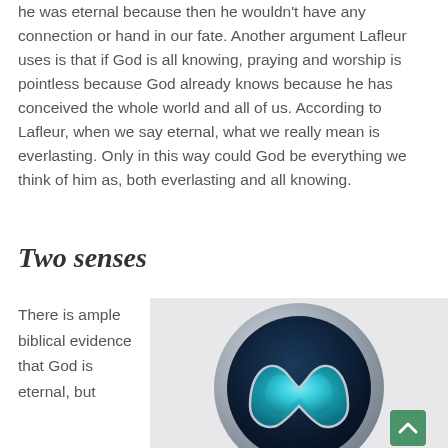he was eternal because then he wouldn't have any connection or hand in our fate. Another argument Lafleur uses is that if God is all knowing, praying and worship is pointless because God already knows because he has conceived the whole world and all of us. According to Lafleur, when we say eternal, what we really mean is everlasting. Only in this way could God be everything we think of him as, both everlasting and all knowing.
Two senses
There is ample biblical evidence that God is eternal, but
[Figure (illustration): A circular metallic logo with a teal/turquoise heart-like shape in the center on a dark blue background, with silver metallic border. Appears to be a decorative emblem or app icon.]